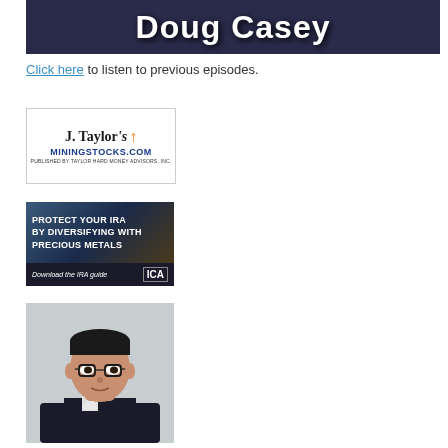[Figure (photo): Doug Casey banner header image with name text over dark background]
Click here to listen to previous episodes.
[Figure (logo): J. Taylor's MininingStocks.com banner - Published by Taylor Hard Money Advisors, Inc.]
[Figure (photo): IRA advertisement banner: PROTECT YOUR IRA BY DIVERSIFYING WITH PRECIOUS METALS. Download the IRA guide. ICA logo.]
[Figure (photo): Headshot of an Asian man wearing glasses in a dark suit, against a light background]